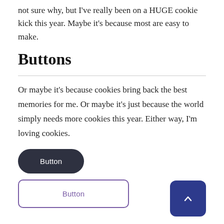not sure why, but I've really been on a HUGE cookie kick this year. Maybe it's because most are easy to make.
Buttons
Or maybe it's because cookies bring back the best memories for me. Or maybe it's just because the world simply needs more cookies this year. Either way, I'm loving cookies.
[Figure (other): Dark rounded pill-shaped button with white text 'Button']
[Figure (other): Outlined rectangle button with purple text 'Button' and dark blue square scroll-to-top button with upward chevron arrow]
[Figure (other): Dark rounded rectangle button with gray text 'Example button' (partially visible at bottom)]